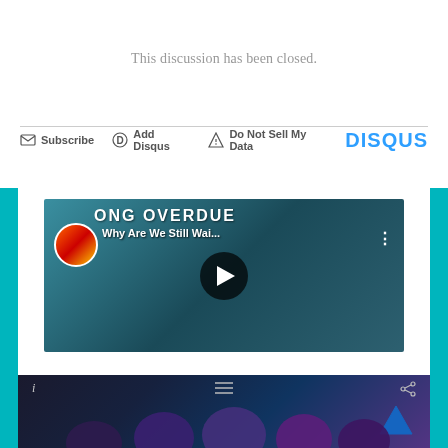This discussion has been closed.
Subscribe  Add Disqus  Do Not Sell My Data  DISQUS
[Figure (screenshot): YouTube video thumbnail showing animated superhero characters with text 'LONG OVERDUE' and video title 'Why Are We Still Wai...' with a play button overlay]
[Figure (screenshot): Video player screenshot showing Marvel superhero characters including She-Hulk, Ant-Man, and others with dark background, info icon, menu icon, and share icon visible]